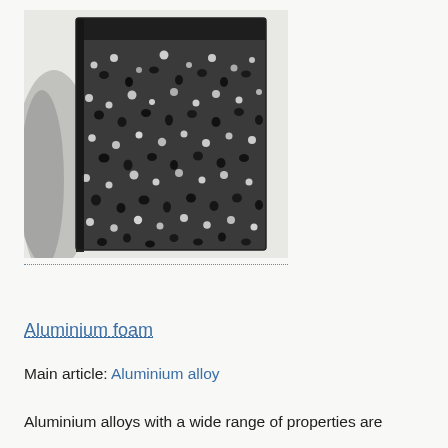[Figure (photo): A rectangular block of aluminium foam — a porous metal material with a silvery, sparkly crystalline surface texture and dark edges, photographed on a white background with a shadow to the left.]
Aluminium foam
Main article: Aluminium alloy
Aluminium alloys with a wide range of properties are